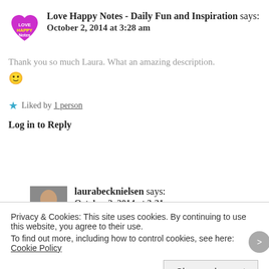Love Happy Notes - Daily Fun and Inspiration says:
October 2, 2014 at 3:28 am
Thank you so much Laura. What an amazing description. 🙂
★ Liked by 1 person
Log in to Reply
laurabecknielsen says:
October 2, 2014 at 3:31 am
Privacy & Cookies: This site uses cookies. By continuing to use this website, you agree to their use.
To find out more, including how to control cookies, see here: Cookie Policy
Close and accept